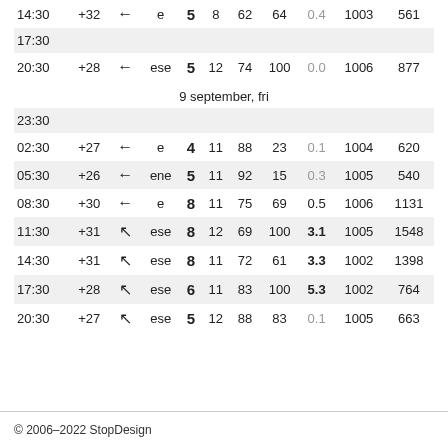| Time | Temp | Wind dir | Dir | Speed | Col6 | Col7 | Col8 | Precip | Pressure | Last |
| --- | --- | --- | --- | --- | --- | --- | --- | --- | --- | --- |
| 14:30 | +32 | ← | e | 5 | 8 | 62 | 64 | 0.4 | 1003 | 561 |
| 17:30 |  |  |  |  |  |  |  |  |  |  |
| 20:30 | +28 | ← | ese | 5 | 12 | 74 | 100 | 0.0 | 1006 | 877 |
| 9 september, fri |
| 23:30 |  |  |  |  |  |  |  |  |  |  |
| 02:30 | +27 | ← | e | 4 | 11 | 88 | 23 | 0.1 | 1004 | 620 |
| 05:30 | +26 | ← | ene | 5 | 11 | 92 | 15 | 0.3 | 1005 | 540 |
| 08:30 | +30 | ← | e | 8 | 11 | 75 | 69 | 0.5 | 1006 | 1131 |
| 11:30 | +31 | ↖ | ese | 8 | 12 | 69 | 100 | 3.1 | 1005 | 1548 |
| 14:30 | +31 | ↖ | ese | 8 | 11 | 72 | 61 | 3.3 | 1002 | 1398 |
| 17:30 | +28 | ↖ | ese | 6 | 11 | 83 | 100 | 5.3 | 1002 | 764 |
| 20:30 | +27 | ↖ | ese | 5 | 12 | 88 | 83 | 0.1 | 1005 | 663 |
© 2006–2022 StopDesign